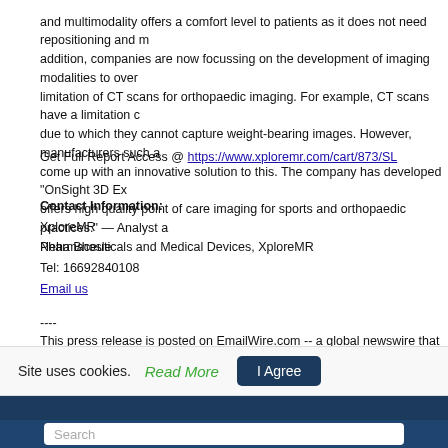and multimodality offers a comfort level to patients as it does not need repositioning and multimodality. In addition, companies are now focussing on the development of imaging modalities to overcome the limitation of CT scans for orthopaedic imaging. For example, CT scans have a limitation of weight bearing due to which they cannot capture weight-bearing images. However, manufacturers such as Carestream have come up with an innovative solution to this. The company has developed "OnSight 3D Ex..." which offers high quality point of care imaging for sports and orthopaedic practices." — Analyst at Pharmaceuticals and Medical Devices, XploreMR
Get Full Report Access @ https://www.xploremr.com/cart/873/SL
Contact Information:
XploreMR
Neha Bhosle
Tel: 16692840108
Email us
----
This press release is posted on EmailWire.com -- a global newswire that provides Press Release Distribution Services with Guaranteed Results
[Figure (screenshot): Cookie consent bar with 'Site uses cookies. Read More' and 'I Agree' button, followed by XploreMR website header with dark navy background showing the XploreMR logo, and a search bar below.]